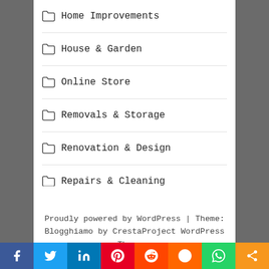Home Improvements
House & Garden
Online Store
Removals & Storage
Renovation & Design
Repairs & Cleaning
Proudly powered by WordPress | Theme: Blogghiamo by CrestaProject WordPress Themes.